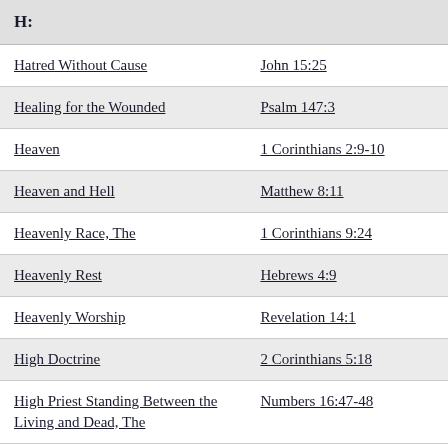| H: |  |
| --- | --- |
| Hatred Without Cause | John 15:25 |
| Healing for the Wounded | Psalm 147:3 |
| Heaven | 1 Corinthians 2:9-10 |
| Heaven and Hell | Matthew 8:11 |
| Heavenly Race, The | 1 Corinthians 9:24 |
| Heavenly Rest | Hebrews 4:9 |
| Heavenly Worship | Revelation 14:1 |
| High Doctrine | 2 Corinthians 5:18 |
| High Priest Standing Between the Living and Dead, The | Numbers 16:47-48 |